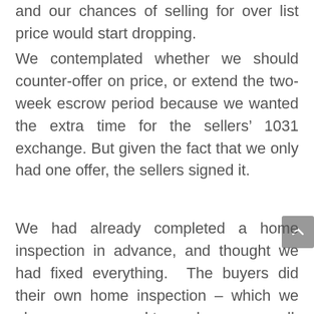and our chances of selling for over list price would start dropping.
We contemplated whether we should counter-offer on price, or extend the two-week escrow period because we wanted the extra time for the sellers’ 1031 exchange. But given the fact that we only had one offer, the sellers signed it.
We had already completed a home inspection in advance, and thought we had fixed everything. The buyers did their own home inspection – which we always recommend to our buyers as well, and here’s why.